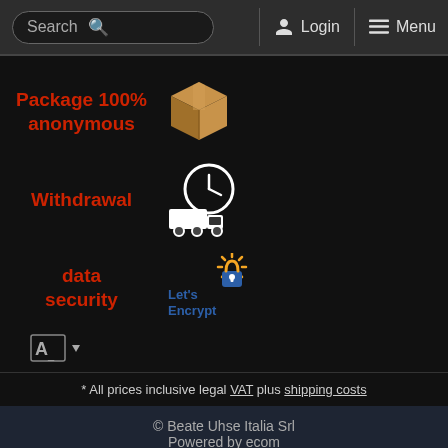Search   Login   Menu
Package 100% anonymous
[Figure (illustration): Brown cardboard box icon]
Withdrawal
[Figure (illustration): Clock with delivery truck icon (white outline)]
data security
[Figure (logo): Let's Encrypt logo with padlock and sun rays]
[Figure (illustration): Language selector icon with dropdown arrow]
* All prices inclusive legal VAT plus shipping costs
© Beate Uhse Italia Srl
Powered by ecom